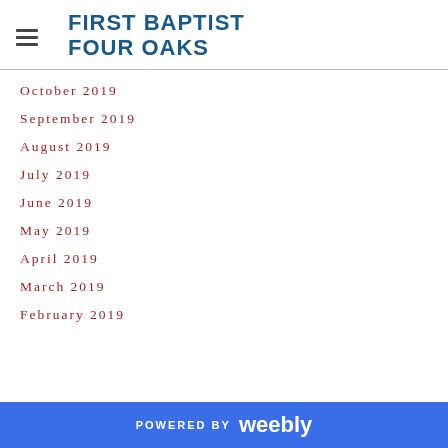FIRST BAPTIST FOUR OAKS
October 2019
September 2019
August 2019
July 2019
June 2019
May 2019
April 2019
March 2019
February 2019
POWERED BY weebly